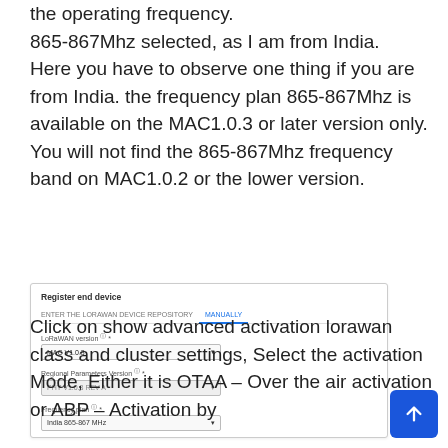the operating frequency. 865-867Mhz selected, as I am from India. Here you have to observe one thing if you are from India. the frequency plan 865-867Mhz is available on the MAC1.0.3 or later version only. You will not find the 865-867Mhz frequency band on MAC1.0.2 or the lower version.
[Figure (screenshot): Screenshot of 'Register end device' UI showing LoRaWAN version set to MAC V1.0.3, Regional Parameters Version PHY V1.0.3 REV A, and Frequency plan set to India 865-867 MHz]
Click on show advanced activation lorawan class and cluster settings, Select the activation Mode, Either it is OTAA – Over the air activation or ABP – Activation by